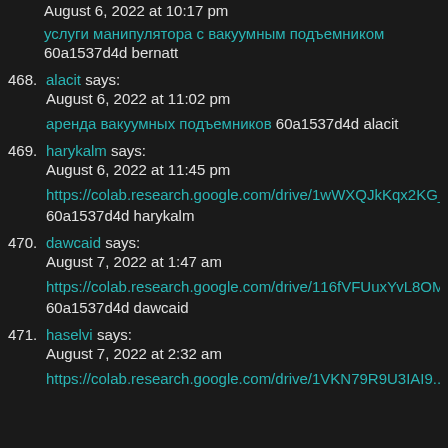August 6, 2022 at 10:17 pm
услуги манипулятора с вакуумным подъемником
60a1537d4d bernatt
468. alacit says:
August 6, 2022 at 11:02 pm
аренда вакуумных подъемников 60a1537d4d alacit
469. harykalm says:
August 6, 2022 at 11:45 pm
https://colab.research.google.com/drive/1wWXQJkKqx2KG_h4IUrPqb
60a1537d4d harykalm
470. dawcaid says:
August 7, 2022 at 1:47 am
https://colab.research.google.com/drive/116fVFUuxYvL8OM3tHL0iMz
60a1537d4d dawcaid
471. haselvi says:
August 7, 2022 at 2:32 am
https://colab.research.google.com/drive/1VKN79R9U3IAI9...